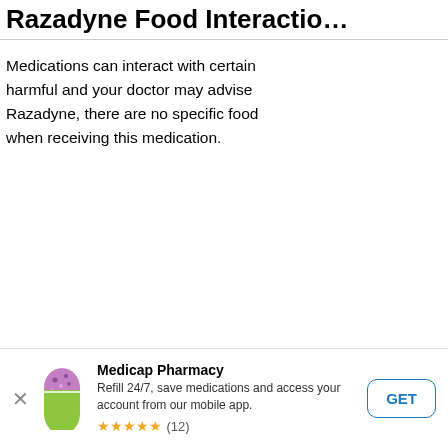Razadyne Food Interactio…
Medications can interact with certain harmful and your doctor may advise Razadyne, there are no specific food when receiving this medication.
Inform MD
Before taking Razadyne, tell your do… Especially tell your doctor if you:
are allergic to Razadyne or to any…
have, or have had, seizures
[Figure (logo): Accessibility icon — person in circle, dark blue background]
Medicap Pharmacy
Refill 24/7, save medications and access your account from our mobile app.
★★★★★ (12)